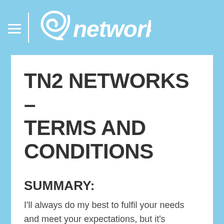TN2 Networks
TN2 NETWORKS – TERMS AND CONDITIONS
SUMMARY:
I'll always do my best to fulfil your needs and meet your expectations, but it's important to